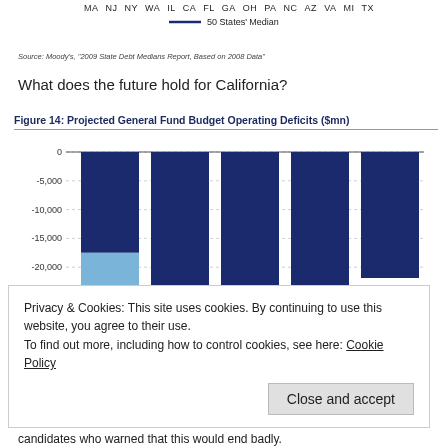[Figure (other): Top axis labels showing US state abbreviations: MA NJ NY WA IL CA FL GA OH PA NC AZ VA MI TX, with a 50 States Median legend line]
Source: Moody's, "2009 State Debt Medians Report, Based on 2008 Data"
What does the future hold for California?
[Figure (bar-chart): Figure 14: Projected General Fund Budget Operating Deficits ($mn)]
Privacy & Cookies: This site uses cookies. By continuing to use this website, you agree to their use.
To find out more, including how to control cookies, see here: Cookie Policy
Close and accept
candidates who warned that this would end badly.